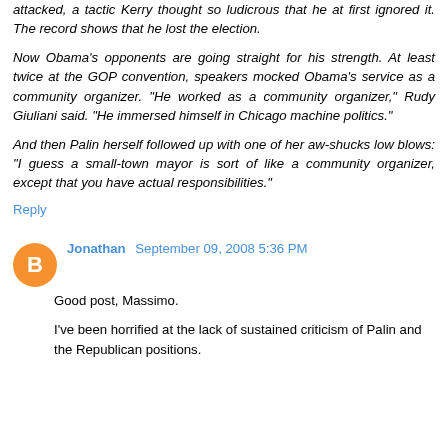attacked, a tactic Kerry thought so ludicrous that he at first ignored it. The record shows that he lost the election.
Now Obama's opponents are going straight for his strength. At least twice at the GOP convention, speakers mocked Obama's service as a community organizer. "He worked as a community organizer," Rudy Giuliani said. "He immersed himself in Chicago machine politics."
And then Palin herself followed up with one of her aw-shucks low blows: "I guess a small-town mayor is sort of like a community organizer, except that you have actual responsibilities."
Reply
Jonathan  September 09, 2008 5:36 PM
Good post, Massimo.
I've been horrified at the lack of sustained criticism of Palin and the Republican positions.